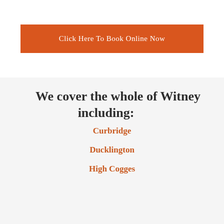Click Here To Book Online Now
We cover the whole of Witney including:
Curbridge
Ducklington
High Cogges